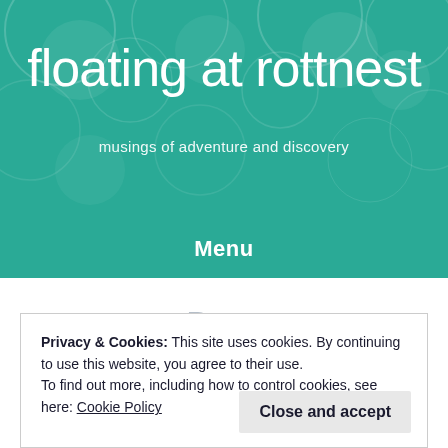floating at rottnest
musings of adventure and discovery
Menu
Beer
Privacy & Cookies: This site uses cookies. By continuing to use this website, you agree to their use. To find out more, including how to control cookies, see here: Cookie Policy
Close and accept
restaurant. It was Friday night and the beer